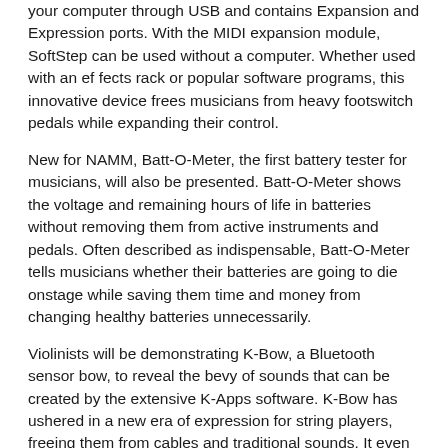your computer through USB and contains Expansion and Expression ports. With the MIDI expansion module, SoftStep can be used without a computer. Whether used with an effects rack or popular software programs, this innovative device frees musicians from heavy footswitch pedals while expanding their control.
New for NAMM, Batt-O-Meter, the first battery tester for musicians, will also be presented. Batt-O-Meter shows the voltage and remaining hours of life in batteries without removing them from active instruments and pedals. Often described as indispensable, Batt-O-Meter tells musicians whether their batteries are going to die onstage while saving them time and money from changing healthy batteries unnecessarily.
Violinists will be demonstrating K-Bow, a Bluetooth sensor bow, to reveal the bevy of sounds that can be created by the extensive K-Apps software. K-Bow has ushered in a new era of expression for string players, freeing them from cables and traditional sounds. It even allows the player to control surround sound and videos with the wave of a bow.
KMI demonstrators will also have Stringport on hand to show how KMI has greatly expanded the processing and synthesis palette of string players. Stringport is a unique polyphonic string-to-USB2